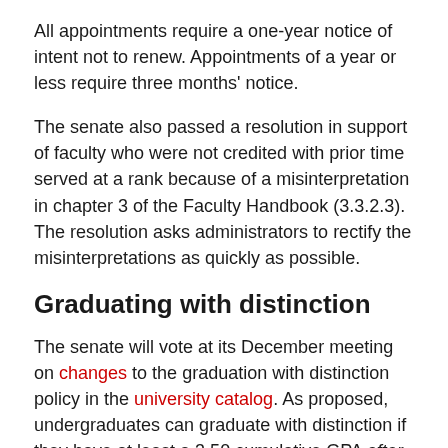All appointments require a one-year notice of intent not to renew. Appointments of a year or less require three months' notice.
The senate also passed a resolution in support of faculty who were not credited with prior time served at a rank because of a misinterpretation in chapter 3 of the Faculty Handbook (3.3.2.3). The resolution asks administrators to rectify the misinterpretations as quickly as possible.
Graduating with distinction
The senate will vote at its December meeting on changes to the graduation with distinction policy in the university catalog. As proposed, undergraduates can graduate with distinction if they have at least a 3.50 cumulative GPA after meeting all degree requirements. Most bachelor degree candidates must complete 60 credits at Iowa State with a minimum of 50 graded credits. Bachelor of liberal studies degree graduates must complete 45 credits at state Board